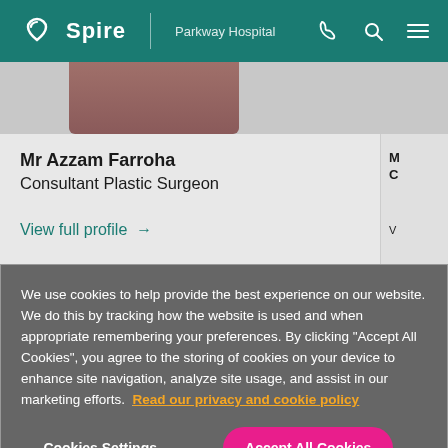Spire | Parkway Hospital
[Figure (photo): Partial photo of a person (consultant) visible at top of page]
Mr Azzam Farroha
Consultant Plastic Surgeon
View full profile →
We use cookies to help provide the best experience on our website. We do this by tracking how the website is used and when appropriate remembering your preferences. By clicking "Accept All Cookies", you agree to the storing of cookies on your device to enhance site navigation, analyze site usage, and assist in our marketing efforts. Read our privacy and cookie policy
Cookies Settings
Accept All Cookies